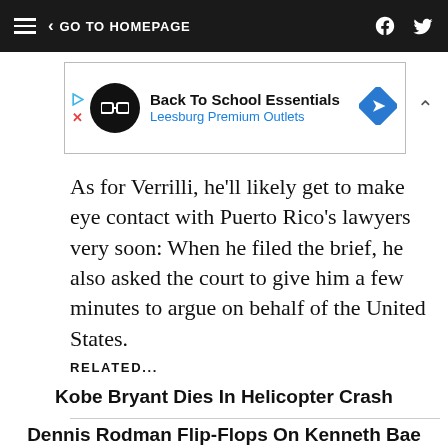< GO TO HOMEPAGE
[Figure (other): Advertisement banner: Back To School Essentials - Leesburg Premium Outlets]
As for Verrilli, he'll likely get to make eye contact with Puerto Rico's lawyers very soon: When he filed the brief, he also asked the court to give him a few minutes to argue on behalf of the United States.
RELATED...
Kobe Bryant Dies In Helicopter Crash
Dennis Rodman Flip-Flops On Kenneth Bae
Dennis Rodman: 50 Percent Of The WNBA Are